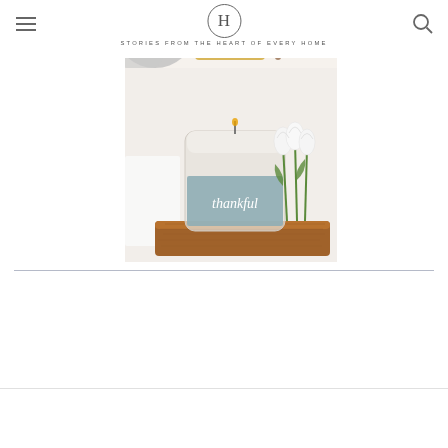H — STORIES FROM THE HEART OF EVERY HOME
[Figure (photo): Partial top view of lifestyle items including gray textile and mustard/yellow cloth on light background]
[Figure (photo): A frosted glass candle with a sage/mint blue label reading 'thankful' in script, placed on a wooden board next to white tulips]